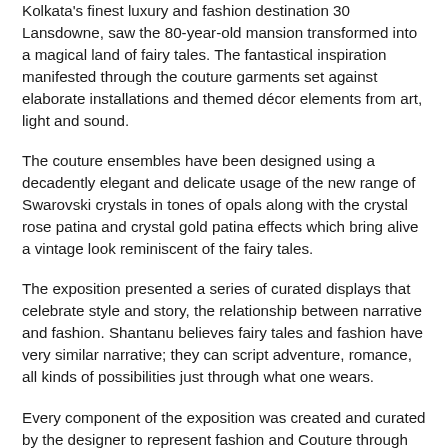Kolkata's finest luxury and fashion destination 30 Lansdowne, saw the 80-year-old mansion transformed into a magical land of fairy tales. The fantastical inspiration manifested through the couture garments set against elaborate installations and themed décor elements from art, light and sound.
The couture ensembles have been designed using a decadently elegant and delicate usage of the new range of Swarovski crystals in tones of opals along with the crystal rose patina and crystal gold patina effects which bring alive a vintage look reminiscent of the fairy tales.
The exposition presented a series of curated displays that celebrate style and story, the relationship between narrative and fashion. Shantanu believes fairy tales and fashion have very similar narrative; they can script adventure, romance, all kinds of possibilities just through what one wears.
Every component of the exposition was created and curated by the designer to represent fashion and Couture through fairytales like Alice in Wonderland, Sleeping Beauty, Cinderella and more.